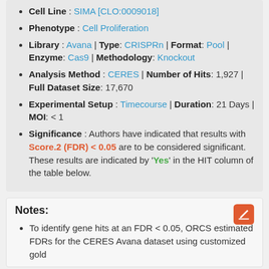Cell Line : SIMA [CLO:0009018]
Phenotype : Cell Proliferation
Library : Avana | Type: CRISPRn | Format: Pool | Enzyme: Cas9 | Methodology: Knockout
Analysis Method : CERES | Number of Hits: 1,927 | Full Dataset Size: 17,670
Experimental Setup : Timecourse | Duration: 21 Days | MOI: < 1
Significance : Authors have indicated that results with Score.2 (FDR) < 0.05 are to be considered significant. These results are indicated by 'Yes' in the HIT column of the table below.
Notes:
To identify gene hits at an FDR < 0.05, ORCS estimated FDRs for the CERES Avana dataset using customized gold